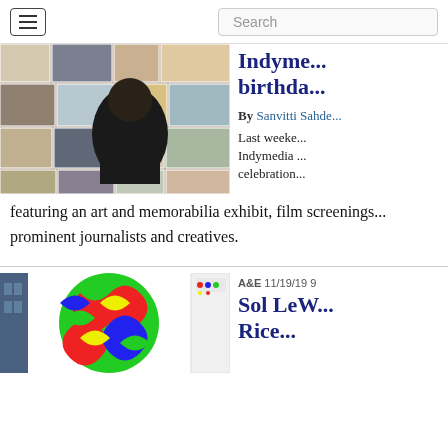Navigation bar with hamburger menu and Search field
[Figure (photo): Person viewed from behind looking at a large collage wall of photographs and artworks]
Indyme... birthda...
By Sanvitti Sahde...
Last weeke... Indymedia ... celebration... featuring an art and memorabilia exhibit, film screenings... prominent journalists and creatives.
[Figure (photo): Colorful abstract artwork with swirling segments in primary colors — green, red, blue, yellow — and a secondary image on the right showing a white surface with small colorful dots]
A&E 11/19/19 9
Sol LeW... Rice...